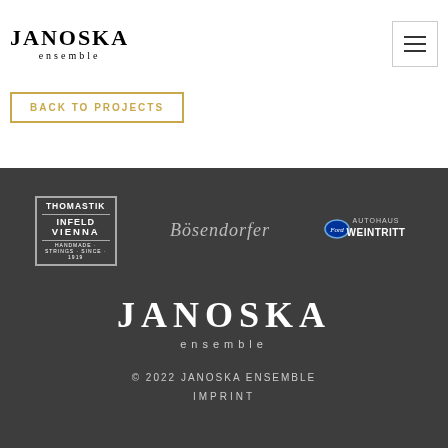JANOSKA ensemble
BACK TO PROJECTS
[Figure (logo): Thomastik Infeld Vienna - Handmade Strings Since 1919 logo]
[Figure (logo): Bösendorfer logo in gothic script]
[Figure (logo): Ford Autohaus Weintritt logo]
[Figure (logo): JANOSKA ensemble footer logo]
© 2022 JANOSKA ENSEMBLE
IMPRINT